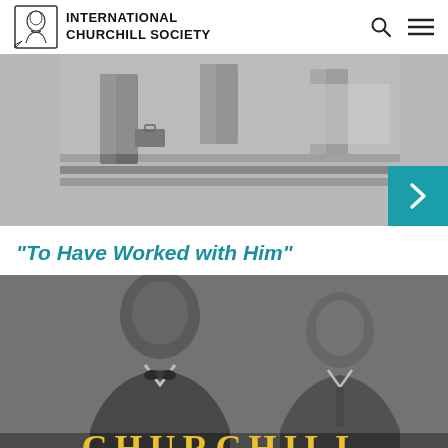INTERNATIONAL CHURCHILL SOCIETY
[Figure (photo): Black and white photograph showing people's legs and lower bodies standing on steps, partially cropped, with a teal arrow/next button overlay on the right side.]
“To Have Worked with Him”
[Figure (photo): Black and white photograph of Winston Churchill and another man in suits, with the word CHURCHILL printed in large gold/yellow letters at the bottom of the image.]